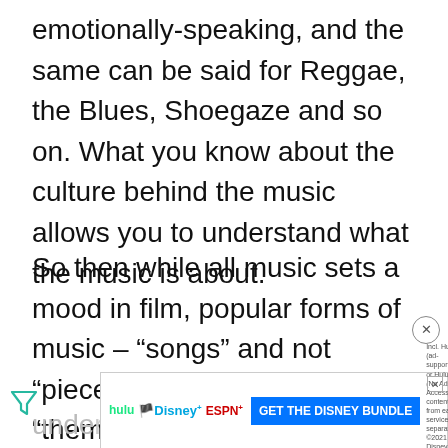emotionally-speaking, and the same can be said for Reggae, the Blues, Shoegaze and so on. What you know about the culture behind the music allows you to understand what the music is about.
So then while all music sets a mood in film, popular forms of music – “songs” and not “pieces,” “movements,” or “themes” – elevate films to levels of greatness by what they bring to the cinematic world from our own, and what they cause us to take from the former to the latter when we return... under...
[Figure (other): Advertisement banner for Disney Bundle (Hulu, Disney+, ESPN+) with blue CTA button 'GET THE DISNEY BUNDLE' and small text about subscription terms. Includes an X close button.]